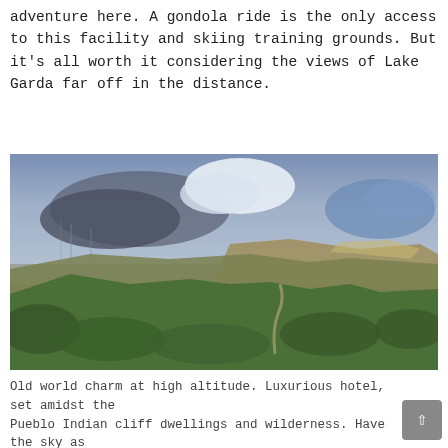adventure here. A gondola ride is the only access to this facility and skiing training grounds. But it's all worth it considering the views of Lake Garda far off in the distance.
[Figure (photo): Aerial landscape photograph showing a dramatic canyon and valley view with green forested slopes in the foreground, rocky cliffs and canyon ridges in the middle ground, a wide flat plain in the distance, and a stormy dramatic sky with clouds above.]
Old world charm at high altitude. Luxurious hotel, set amidst the Pueblo Indian cliff dwellings and wilderness. Have the sky as